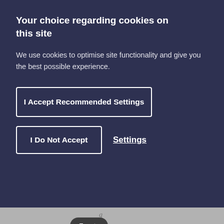Your choice regarding cookies on this site
We use cookies to optimise site functionality and give you the best possible experience.
I Accept Recommended Settings
I Do Not Accept
Settings
Events
SHARE THIS PAGE